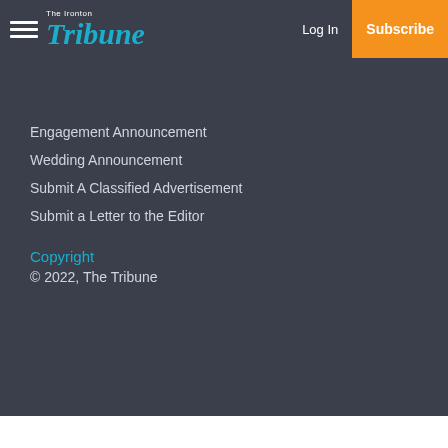The Ironton Tribune — Log In | Subscribe
Engagement Announcement
Wedding Announcement
Submit A Classified Advertisement
Submit a Letter to the Editor
Copyright
© 2022, The Tribune